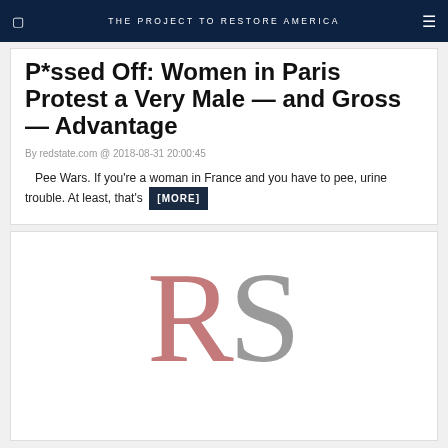THE PROJECT TO RESTORE AMERICA
P*ssed Off: Women in Paris Protest a Very Male — and Gross — Advantage
By redstate.com @ 2018-08-31 20:00:45
Pee Wars. If you're a woman in France and you have to pee, urine trouble. At least, that's [MORE]
[Figure (logo): RedState logo — large pink letter R and grey letter S in serif font]